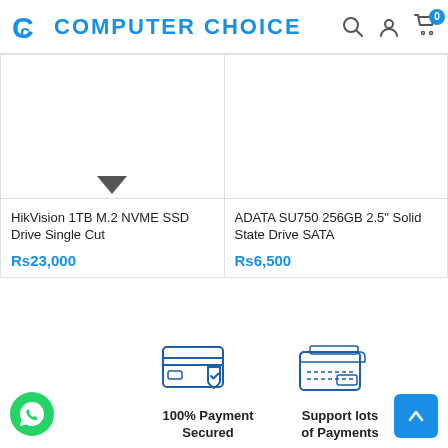Computer Choice
HikVision 1TB M.2 NVME SSD Drive Single Cut
Rs23,000
ADATA SU750 256GB 2.5" Solid State Drive SATA
Rs6,500
[Figure (logo): 100% Payment Secured icon with credit card and shield]
100% Payment Secured
[Figure (logo): Support lots of Payments icon with wallet]
Support lots of Payments